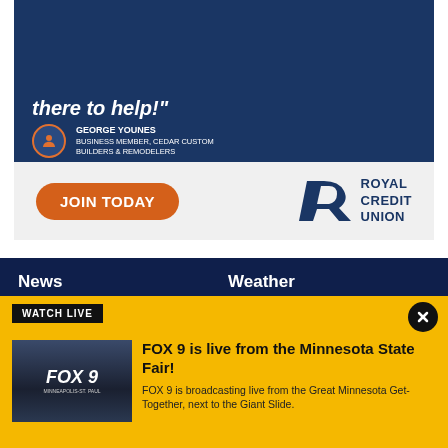[Figure (photo): Advertisement banner with dark blue background showing a person in a suit holding a phone, with text 'there to help!' and George Younes, Business Member, Cedar Custom Builders & Remodelers]
[Figure (logo): Royal Credit Union advertisement with orange JOIN TODAY button and RCU logo on light gray background]
News
Local News
Weather
FOX 9 Weather App
FOX 9 is live from the Minnesota State Fair!
FOX 9 is broadcasting live from the Great Minnesota Get-Together, next to the Giant Slide.